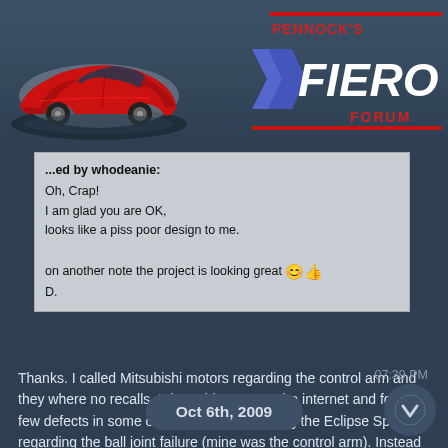[Figure (logo): Pennock's Fiero Forum logo with red Fiero car illustration and blue chevron graphic]
...ed by whodeanie:
Oh, Crap!
I am glad you are OK,
looks like a piss poor design to me.

on another note the project is looking great 😊👍
D.
Thanks. I called Mitsubishi motors regarding the control arm and they where no recalls. I dug a bit more on the internet and found a few defects in some of their models including the Eclipse Spider regarding the ball joint failure (mine was the control arm). Instead of arguing with the dealership, I got a replacement control arm on a wrecked Eclipse for $46 bucks and with no structural compromises. If the dealer had anything to do with it--- it would've cost me upwards of $500 bucks, car rental, and one major headache. 😠
07:39 PM
Oct 6th, 2009